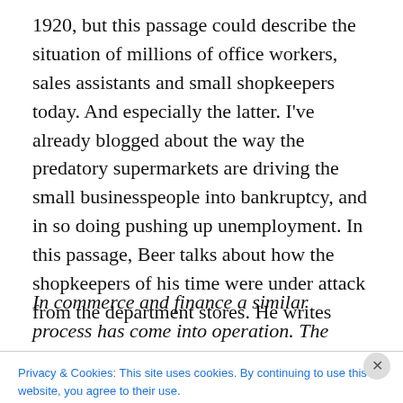1920, but this passage could describe the situation of millions of office workers, sales assistants and small shopkeepers today. And especially the latter. I've already blogged about the way the predatory supermarkets are driving the small businesspeople into bankruptcy, and in so doing pushing up unemployment. In this passage, Beer talks about how the shopkeepers of his time were under attack from the department stores. He writes
In commerce and finance a similar process has come into operation. The wholesale traders are reducing the retail
Privacy & Cookies: This site uses cookies. By continuing to use this website, you agree to their use.
To find out more, including how to control cookies, see here: Cookie Policy
Close and accept